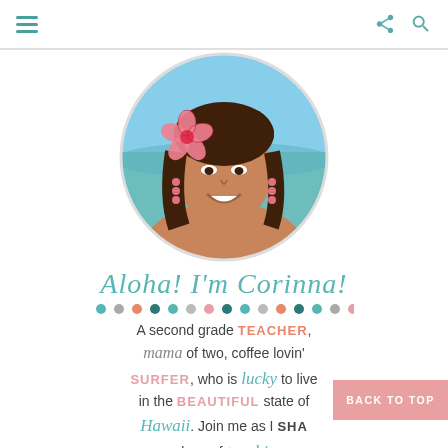Navigation bar with hamburger menu and share/search icons
[Figure (photo): Circular profile photo of a smiling woman with long brown hair, a pink hibiscus flower in her hair, at the beach with ocean in background]
Aloha! I'm Corinna!
[Figure (other): Row of colorful decorative dots in teal, gray, pink, dark teal, teal, gray, pink, dark teal, teal, gray, pink, dark teal]
A second grade TEACHER, mama of two, coffee lovin' SURFER, who is lucky to live in the BEAUTIFUL state of Hawaii. Join me as I SHARE my love of teaching,